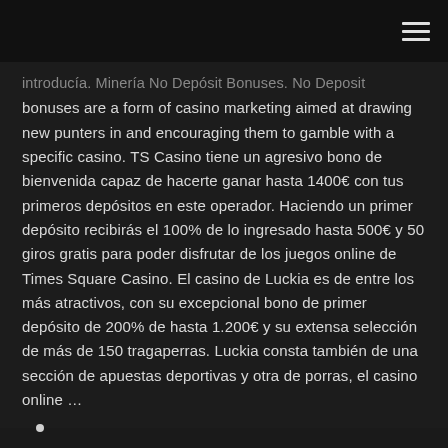≡
introducía. Minería No Depósit Bonuses. No Deposit bonuses are a form of casino marketing aimed at drawing new punters in and encouraging them to gamble with a specific casino. TS Casino tiene un agresivo bono de bienvenida capaz de hacerte ganar hasta 1400€ con tus primeros depósitos en este operador. Haciendo un primer depósito recibirás el 100% de lo ingresado hasta 500€ y 50 giros gratis para poder disfrutar de los juegos online de Times Square Casino. El casino de Luckia es de entre los más atractivos, con su excepcional bono de primer depósito de 200% de hasta 1.200€ y su extensa selección de más de 150 tragaperras. Luckia consta también de una sección de apuestas deportivas y otra de porras, el casino online …